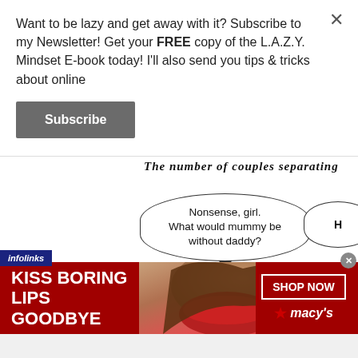Want to be lazy and get away with it? Subscribe to my Newsletter! Get your FREE copy of the L.A.Z.Y. Mindset E-book today! I'll also send you tips & tricks about online
Subscribe
[Figure (illustration): Comic strip showing title 'The number of couples separating' with speech bubble saying 'Nonsense, girl. What would mummy be without daddy?' and a partial second speech bubble with 'H'. Cartoon figures visible at bottom.]
[Figure (advertisement): Macy's advertisement banner with dark red background showing a woman's face with red lips, text 'KISS BORING LIPS GOODBYE', 'SHOP NOW' button, and Macy's star logo. Infolinks label in top left corner.]